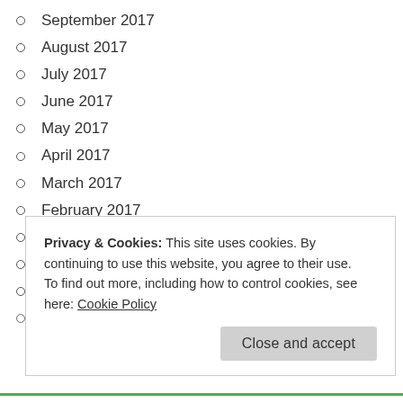September 2017
August 2017
July 2017
June 2017
May 2017
April 2017
March 2017
February 2017
January 2017
December 2016
November 2016
October 2016
Privacy & Cookies: This site uses cookies. By continuing to use this website, you agree to their use.
To find out more, including how to control cookies, see here: Cookie Policy
Close and accept